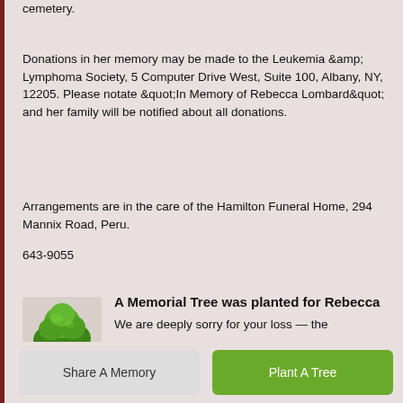cemetery.
Donations in her memory may be made to the Leukemia &amp; Lymphoma Society, 5 Computer Drive West, Suite 100, Albany, NY, 12205. Please notate &quot;In Memory of Rebecca Lombard&quot; and her family will be notified about all donations.
Arrangements are in the care of the Hamilton Funeral Home, 294 Mannix Road, Peru.
643-9055
[Figure (illustration): A green leafy memorial tree illustration]
A Memorial Tree was planted for Rebecca
We are deeply sorry for your loss — the
Share A Memory
Plant A Tree